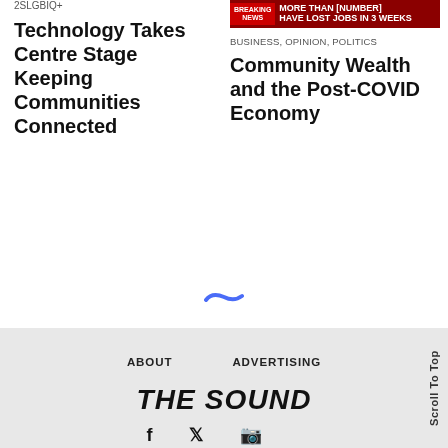2SLGBIQ+
Technology Takes Centre Stage Keeping Communities Connected
[Figure (screenshot): Breaking news banner: MORE THAN [number] HAVE LOST JOBS IN 3 WEEKS]
BUSINESS, OPINION, POLITICS
Community Wealth and the Post-COVID Economy
[Figure (other): Loading spinner oval in blue]
ABOUT   ADVERTISING
THE SOUND
Scroll To Top
Scroll To Top